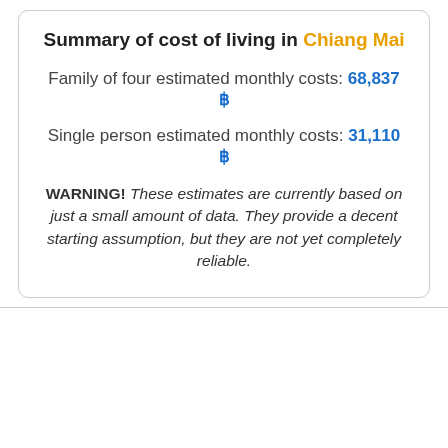Summary of cost of living in Chiang Mai
Family of four estimated monthly costs: 68,837 ฿
Single person estimated monthly costs: 31,110 ฿
WARNING!  These estimates are currently based on just a small amount of data. They provide a decent starting assumption, but they are not yet completely reliable.